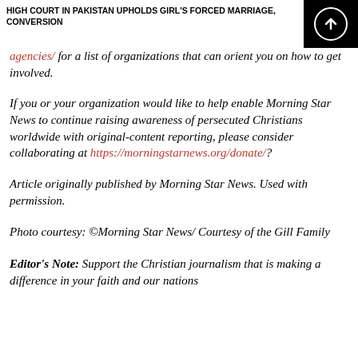HIGH COURT IN PAKISTAN UPHOLDS GIRL'S FORCED MARRIAGE, CONVERSION
agencies/ for a list of organizations that can orient you on how to get involved.
If you or your organization would like to help enable Morning Star News to continue raising awareness of persecuted Christians worldwide with original-content reporting, please consider collaborating at https://morningstarnews.org/donate/?
Article originally published by Morning Star News. Used with permission.
Photo courtesy: ©Morning Star News/ Courtesy of the Gill Family
Editor's Note: Support the Christian journalism that is making a difference in your faith and our nations...